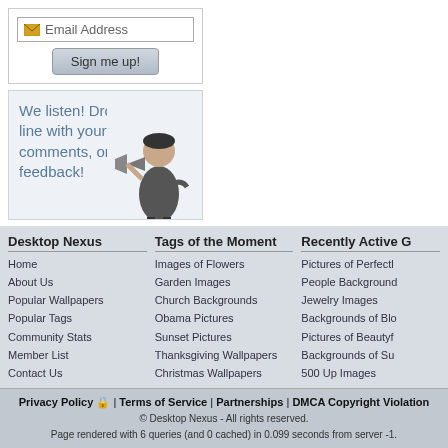[Figure (screenshot): Email address input box with envelope icon and 'Sign me up!' button]
We listen! Drop us a line with your thoughts, comments, or feedback!
[Figure (illustration): Black and white illustration of a man with a megaphone/bullhorn]
❤ Support This Site
Desktop Nexus
Home
About Us
Popular Wallpapers
Popular Tags
Community Stats
Member List
Contact Us
Tags of the Moment
Images of Flowers
Garden Images
Church Backgrounds
Obama Pictures
Sunset Pictures
Thanksgiving Wallpapers
Christmas Wallpapers
Recently Active G
Pictures of Perfectl
People Background
Jewelry Images
Backgrounds of Blo
Pictures of Beautyf
Backgrounds of Su
500 Up Images
Privacy Policy 🔒 | Terms of Service | Partnerships | DMCA Copyright Violation
© Desktop Nexus - All rights reserved.
Page rendered with 6 queries (and 0 cached) in 0.099 seconds from server -1.